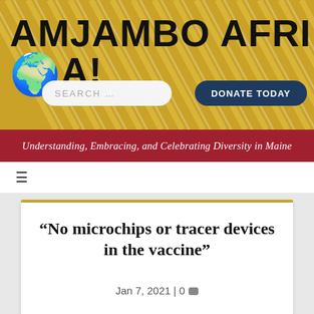AMJAMBO AFRICA!
[Figure (logo): Amjambo Africa! logo with bold black uppercase text on gold diagonal-striped background, with search bar and Donate Today button]
Understanding, Embracing, and Celebrating Diversity in Maine
“No microchips or tracer devices in the vaccine”
Jan 7, 2021 | 0